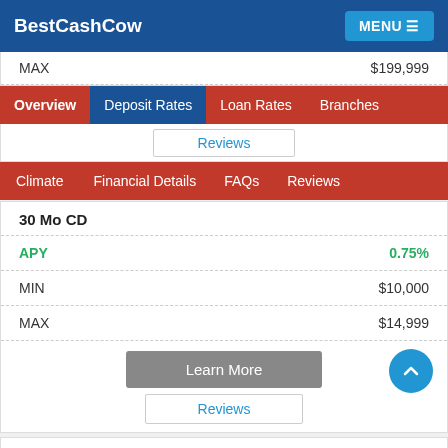BestCashCow   MENU
|  |  |
| --- | --- |
| MAX | $199,999 |
Overview  Deposit Rates  Loan Rates  Branches
Reviews
Climate  Financial Details  FAQs  Reviews
| 30 Mo CD |  |
| --- | --- |
| APY | 0.75% |
| MIN | $10,000 |
| MAX | $14,999 |
Learn More
Reviews